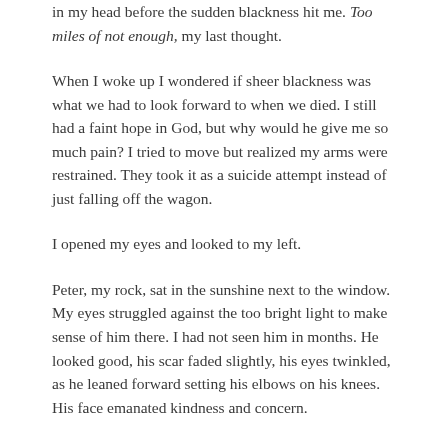in my head before the sudden blackness hit me. Too miles of not enough, my last thought.
When I woke up I wondered if sheer blackness was what we had to look forward to when we died. I still had a faint hope in God, but why would he give me so much pain? I tried to move but realized my arms were restrained. They took it as a suicide attempt instead of just falling off the wagon.
I opened my eyes and looked to my left.
Peter, my rock, sat in the sunshine next to the window. My eyes struggled against the too bright light to make sense of him there. I had not seen him in months. He looked good, his scar faded slightly, his eyes twinkled, as he leaned forward setting his elbows on his knees. His face emanated kindness and concern.